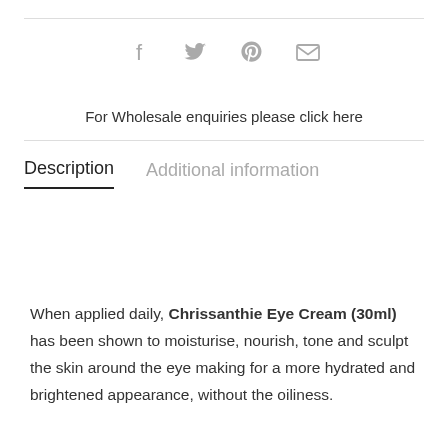[Figure (other): Social sharing icons: Facebook, Twitter, Pinterest, Email]
For Wholesale enquiries please click here
Description | Additional information
When applied daily, Chrissanthie Eye Cream (30ml) has been shown to moisturise, nourish, tone and sculpt the skin around the eye making for a more hydrated and brightened appearance, without the oiliness.